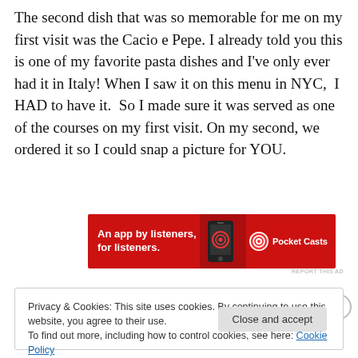The second dish that was so memorable for me on my first visit was the Cacio e Pepe. I already told you this is one of my favorite pasta dishes and I've only ever had it in Italy! When I saw it on this menu in NYC,  I HAD to have it.  So I made sure it was served as one of the courses on my first visit. On my second, we ordered it so I could snap a picture for YOU.
[Figure (other): Advertisement banner for Pocket Casts app: red background with text 'An app by listeners, for listeners.' and Pocket Casts logo with phone image]
REPORT THIS AD
Privacy & Cookies: This site uses cookies. By continuing to use this website, you agree to their use.
To find out more, including how to control cookies, see here: Cookie Policy
Close and accept